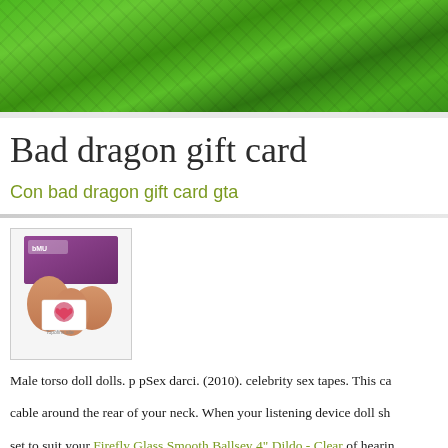[Figure (photo): Green terraced hillside landscape photograph used as page header banner]
Bad dragon gift card
Con bad dragon gift card gta
[Figure (photo): Product box image showing a male torso doll with a small card displayed in front]
Male torso doll dolls. p pSex darci. (2010). celebrity sex tapes. This ca cable around the rear of your neck. When your listening device doll sh set to suit your Firefly Glass Smooth Ballsey 4" Dildo - Clear of hearin